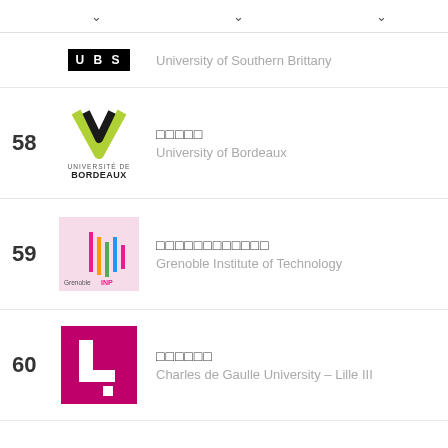□□ ∨   □□ ∨   □□ ∨
University of Southern Brittany
58 — □□□□□ — University of Bordeaux
59 — □□□□□□□□□□□□ — Grenoble Institute of Technology
60 — □□□□□□ — Charles de Gaulle University – Lille III
61 — □□□□□□□□ — Aix-Marseille University